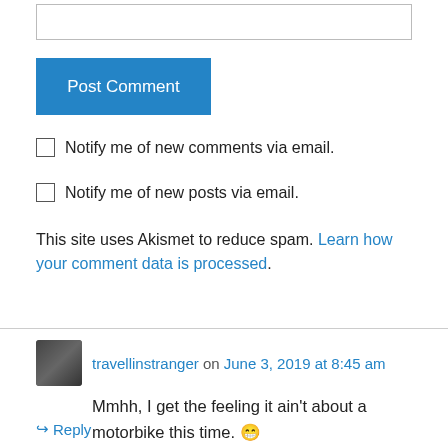[Figure (screenshot): Empty text input box]
Post Comment
Notify me of new comments via email.
Notify me of new posts via email.
This site uses Akismet to reduce spam. Learn how your comment data is processed.
travellinstranger on June 3, 2019 at 8:45 am
Mmhh, I get the feeling it ain't about a motorbike this time. 😁
↪ Reply